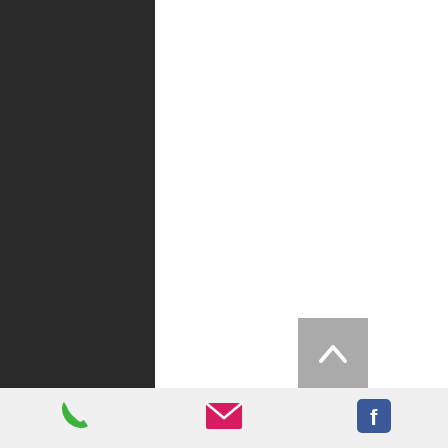August ...
July 202...
June 20...
May 202...
April 20...
March 2...
Februar...
January...
Novemb...
October ...
Septem...
August ...
July 202...
June 20...
May 202...